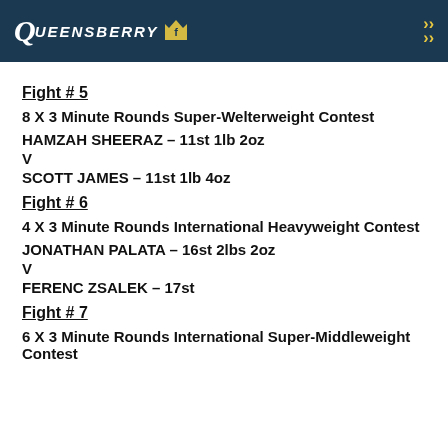Queensberry [logo]
Fight # 5
8 X 3 Minute Rounds Super-Welterweight Contest
HAMZAH SHEERAZ – 11st 1lb 2oz
V
SCOTT JAMES – 11st 1lb 4oz
Fight # 6
4 X 3 Minute Rounds International Heavyweight Contest
JONATHAN PALATA – 16st 2lbs 2oz
V
FERENC ZSALEK – 17st
Fight # 7
6 X 3 Minute Rounds International Super-Middleweight Contest